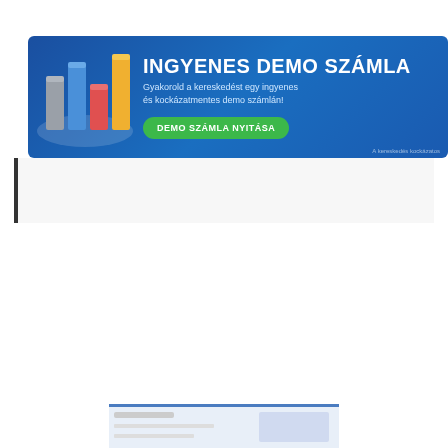[Figure (infographic): Blue banner advertisement for 'INGYENES DEMO SZÁMLA' (Free Demo Account) with bar chart icon on left, title text, subtitle 'Gyakorold a kereskedést egy ingyenes és kockázatmentes demo számlán!', green button 'DEMO SZÁMLA NYITÁSA', and small disclaimer text bottom right.]
[Figure (photo): Dark green chalkboard image with white chalk text reading 'TOP 10']
[Figure (screenshot): Partially visible image at bottom of page, appears to be a financial or web screenshot]